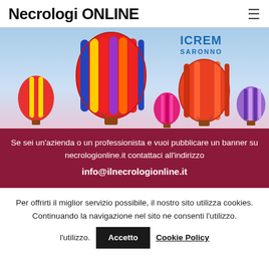Necrologi ONLINE
[Figure (illustration): Colorful hot air balloons floating in a light blue and pink sky, with ICREM SARONNO logo in the upper right corner of the banner.]
Se sei un'azienda o un professionista e vuoi pubblicare un banner su necrologionline.it contattaci all'indirizzo info@ilnecrologionline.it
Per offrirti il miglior servizio possibile, il nostro sito utilizza cookies. Continuando la navigazione nel sito ne consenti l'utilizzo.
Accetto  Cookie Policy